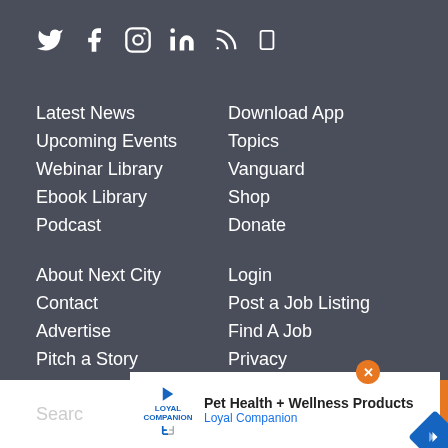[Figure (other): Social media icons row: Twitter, Facebook, Instagram, LinkedIn, RSS, Mobile app]
Latest News
Upcoming Events
Webinar Library
Ebook Library
Podcast
Download App
Topics
Vanguard
Shop
Donate
About Next City
Contact
Advertise
Pitch a Story
Press Room
Login
Post a Job Listing
Find A Job
Privacy
Terms
Search
RCH
Pet Health + Wellness Products Loyal Companion